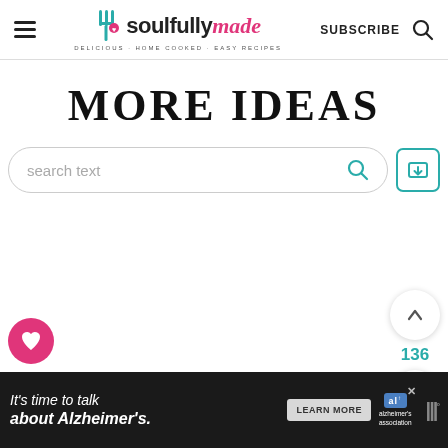Soulfully Made — SUBSCRIBE
MORE IDEAS
search text
788
136
It's time to talk about Alzheimer's. LEARN MORE